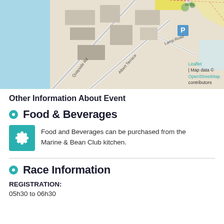[Figure (map): Street map showing Quayside Road, Albert Terrace, Lamp Road area with water/harbour area to the left, parking symbol (P), and OpenStreetMap attribution. Leaflet map.]
Other Information About Event
Food & Beverages
Food and Beverages can be purchased from the Marine & Bean Club kitchen.
Race Information
REGISTRATION:
05h30 to 06h30